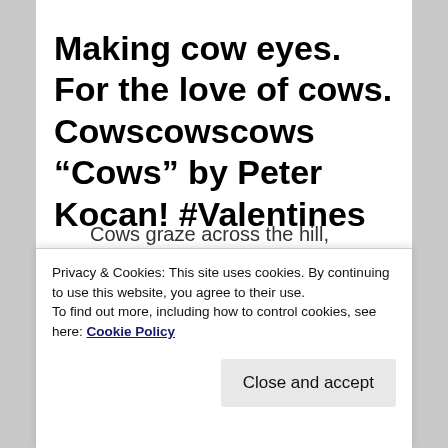Making cow eyes. For the love of cows. Cowscowscows “Cows” by Peter Kocan! #Valentines
Cows graze across the hill,
Privacy & Cookies: This site uses cookies. By continuing to use this website, you agree to their use.
To find out more, including how to control cookies, see here: Cookie Policy